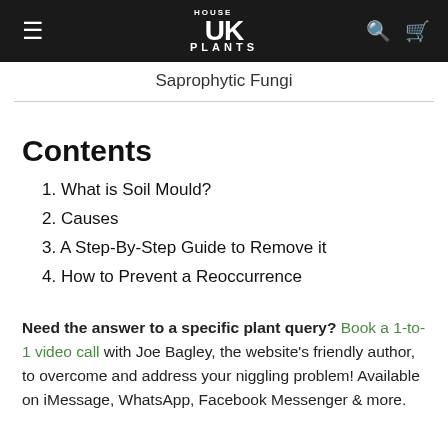HOUSE UK PLANTS
Saprophytic Fungi
Contents
1. What is Soil Mould?
2. Causes
3. A Step-By-Step Guide to Remove it
4. How to Prevent a Reoccurrence
Need the answer to a specific plant query? Book a 1-to-1 video call with Joe Bagley, the website's friendly author, to overcome and address your niggling problem! Available on iMessage, WhatsApp, Facebook Messenger & more.